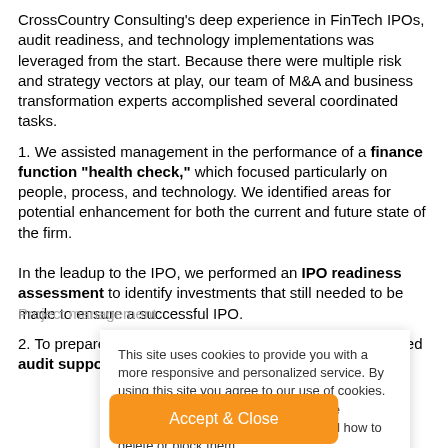CrossCountry Consulting's deep experience in FinTech IPOs, audit readiness, and technology implementations was leveraged from the start. Because there were multiple risk and strategy vectors at play, our team of M&A and business transformation experts accomplished several coordinated tasks.
1. We assisted management in the performance of a finance function "health check," which focused particularly on people, process, and technology. We identified areas for potential enhancement for both the current and future state of the firm.
In the leadup to the IPO, we performed an IPO readiness assessment to identify investments that still needed to be made to ensure a successful IPO.
2. To prepare for the firm's audit and acquisition, we provided audit support assistance, which included:
Project management
This site uses cookies to provide you with a more responsive and personalized service. By using this site you agree to our use of cookies. Please read our cookie policy for more information on the cookies we use and how to delete or block them.
Accept & Close